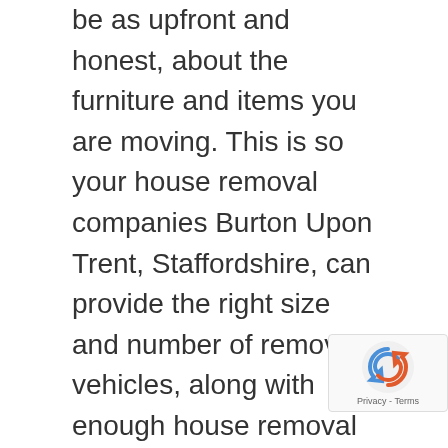be as upfront and honest, about the furniture and items you are moving. This is so your house removal companies Burton Upon Trent, Staffordshire, can provide the right size and number of removal vehicles, along with enough house removal men and home packers, who will ensure your move is completed safely and effectively at all times.
Request your house removal companies Burton Upon Trent, Staffordshire, to carry out a full house removal survey, prior to providing you with a removals quote. This will give your house removal companies Burton Upon Trent, Staffordshire the best opportunity to quote you for the furniture what you actually have to be moved. Many